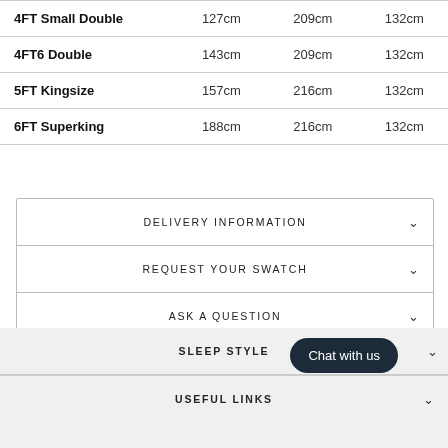| 4FT Small Double | 127cm | 209cm | 132cm |
| 4FT6 Double | 143cm | 209cm | 132cm |
| 5FT Kingsize | 157cm | 216cm | 132cm |
| 6FT Superking | 188cm | 216cm | 132cm |
DELIVERY INFORMATION
REQUEST YOUR SWATCH
ASK A QUESTION
★★★★★ 6 REVIEWS
SLEEP STYLE
USEFUL LINKS